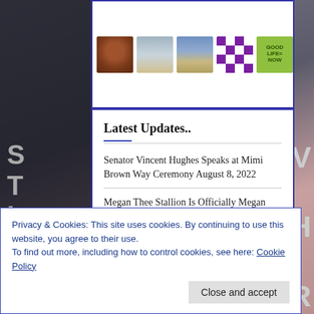[Figure (photo): Thumbnail strip showing: a brown dog with open mouth, two people standing outdoors, a person sitting by water, a purple/white quilt pattern, and a green 'Good Life Now' badge]
Latest Updates..
Senator Vincent Hughes Speaks at Mimi Brown Way Ceremony August 8, 2022
Megan Thee Stallion Is Officially Megan Thee Graduate! December 12, 2021
Privacy & Cookies: This site uses cookies. By continuing to use this website, you agree to their use.
To find out more, including how to control cookies, see here: Cookie Policy
Close and accept